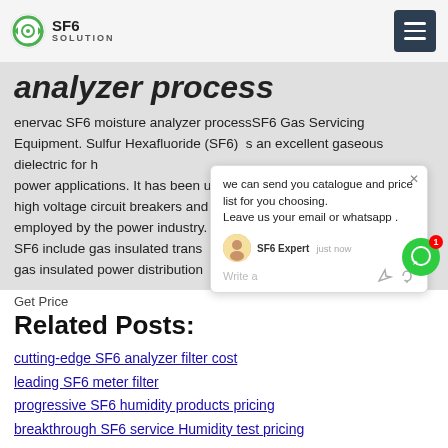SF6 SOLUTION
analyzer process
enervac SF6 moisture analyzer processSF6 Gas Servicing Equipment. Sulfur Hexafluoride (SF6) is an excellent gaseous dielectric for high power applications. It has been used in high voltage circuit breakers and other apparatus employed by the power industry. Applications of SF6 include gas insulated transmission lines and gas insulated power distribution
Get Price
Related Posts:
cutting-edge SF6 analyzer filter cost
leading SF6 meter filter
progressive SF6 humidity products pricing
breakthrough SF6 service Humidity test pricing